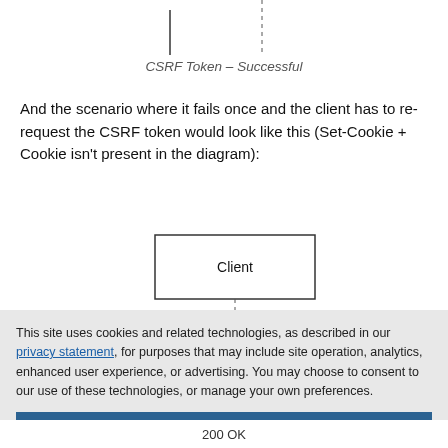[Figure (flowchart): Top portion of a sequence diagram showing Client and Server boxes with dashed lifelines — cropped at top]
CSRF Token – Successful
And the scenario where it fails once and the client has to re-request the CSRF token would look like this (Set-Cookie + Cookie isn't present in the diagram):
[Figure (flowchart): Sequence diagram showing Client box on left and Server box on right with dashed lifelines extending downward, partially visible]
This site uses cookies and related technologies, as described in our privacy statement, for purposes that may include site operation, analytics, enhanced user experience, or advertising. You may choose to consent to our use of these technologies, or manage your own preferences.
Accept Cookies
More Information
Privacy Policy | Powered by: TrustArc
200 OK